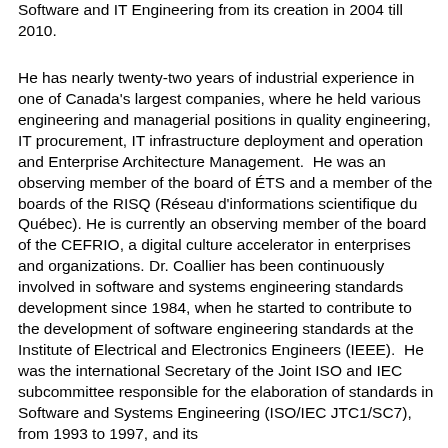Software and IT Engineering from its creation in 2004 till 2010.
He has nearly twenty-two years of industrial experience in one of Canada's largest companies, where he held various engineering and managerial positions in quality engineering, IT procurement, IT infrastructure deployment and operation and Enterprise Architecture Management.  He was an observing member of the board of ÉTS and a member of the boards of the RISQ (Réseau d'informations scientifique du Québec). He is currently an observing member of the board of the CEFRIO, a digital culture accelerator in enterprises and organizations. Dr. Coallier has been continuously involved in software and systems engineering standards development since 1984, when he started to contribute to the development of software engineering standards at the Institute of Electrical and Electronics Engineers (IEEE).  He was the international Secretary of the Joint ISO and IEC subcommittee responsible for the elaboration of standards in Software and Systems Engineering (ISO/IEC JTC1/SC7), from 1993 to 1997, and its